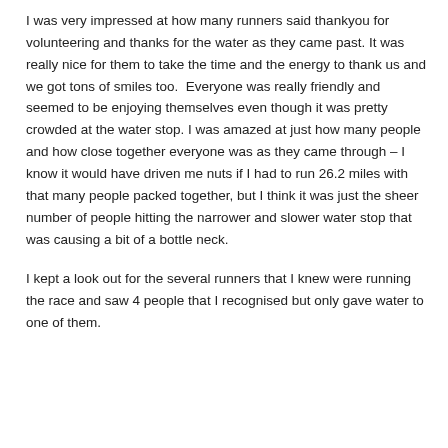I was very impressed at how many runners said thankyou for volunteering and thanks for the water as they came past. It was really nice for them to take the time and the energy to thank us and we got tons of smiles too.  Everyone was really friendly and seemed to be enjoying themselves even though it was pretty crowded at the water stop. I was amazed at just how many people and how close together everyone was as they came through – I know it would have driven me nuts if I had to run 26.2 miles with that many people packed together, but I think it was just the sheer number of people hitting the narrower and slower water stop that was causing a bit of a bottle neck.
I kept a look out for the several runners that I knew were running the race and saw 4 people that I recognised but only gave water to one of them.